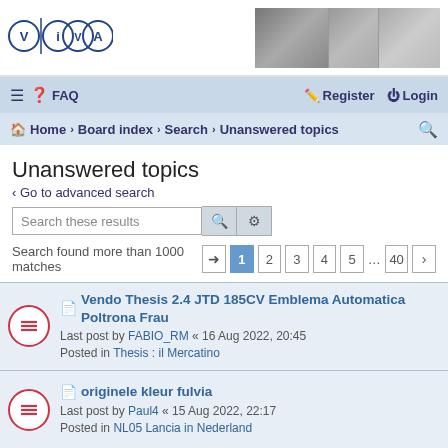[Figure (logo): VIVA logo with three circles containing letters V, I/V, A]
[Figure (photo): Banner photos showing vintage car scenes]
≡  ❓ FAQ    Register  Login
Home › Board index › Search › Unanswered topics
Unanswered topics
< Go to advanced search
Search these results
Search found more than 1000 matches  [→] [1] [2] [3] [4] [5] ... [40] [>]
Vendo Thesis 2.4 JTD 185CV Emblema Automatica Poltrona Frau
Last post by FABIO_RM « 16 Aug 2022, 20:45
Posted in Thesis : il Mercatino
originele kleur fulvia
Last post by Paul4 « 15 Aug 2022, 22:17
Posted in NL05 Lancia in Nederland
Telefon-Sammelkarten unbenutzt
Last post by LCV « 06 Aug 2022, 13:17
Posted in D09 Literatur, Automobilia